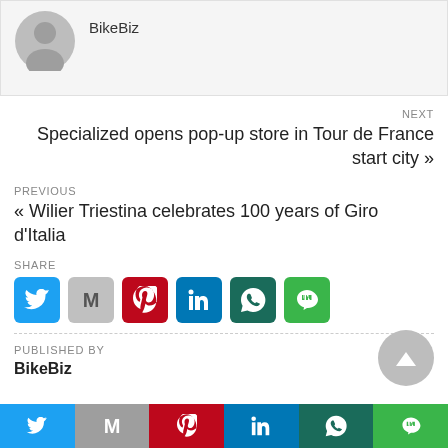[Figure (illustration): User avatar circle (grey silhouette) with author name BikeBiz]
NEXT
Specialized opens pop-up store in Tour de France start city »
PREVIOUS
« Wilier Triestina celebrates 100 years of Giro d'Italia
SHARE
[Figure (infographic): Row of social share buttons: Twitter (blue), Gmail (grey), Pinterest (red), LinkedIn (blue), WhatsApp (dark green), Line (green)]
PUBLISHED BY
BikeBiz
[Figure (infographic): Grey circular scroll-to-top button with upward triangle]
Bottom bar with social share icons: Twitter, Gmail (M), Pinterest, LinkedIn, WhatsApp, Line